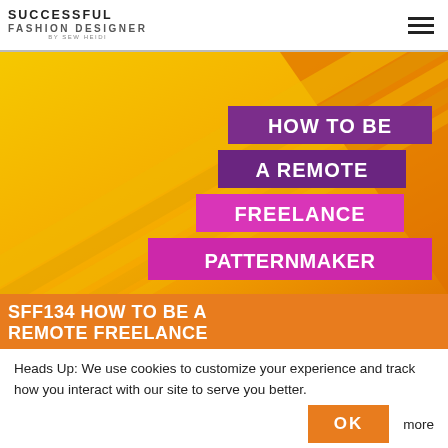SUCCESSFUL FASHION DESIGNER BY SEW HEIDI
[Figure (photo): Yellow/orange background image (keyboard or escalator with yellow tones) with text overlay: 'HOW TO BE A REMOTE FREELANCE PATTERNMAKER' in purple and pink/magenta highlight boxes]
SFF134 HOW TO BE A REMOTE FREELANCE
Heads Up: We use cookies to customize your experience and track how you interact with our site to serve you better. OK more info